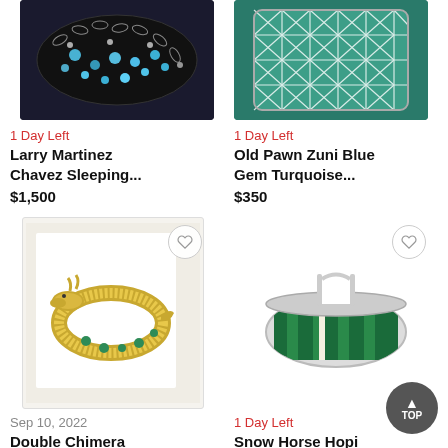[Figure (photo): Larry Martinez Chavez Sleeping Beauty bracelet - black bracelet with blue opal stones and silver accents, cropped top view]
[Figure (photo): Old Pawn Zuni Blue Gem Turquoise bracelet - green/teal cuff with geometric inlay pattern, cropped top view]
1 Day Left
Larry Martinez Chavez Sleeping...
$1,500
1 Day Left
Old Pawn Zuni Blue Gem Turquoise...
$350
[Figure (photo): Double Chimera bracelet - gold textured dragon/chimera bangle with green gemstone accents on white background]
[Figure (photo): Snow Horse Hopi bracelet - silver cuff with green malachite inlay stripes]
Sep 10, 2022
Double Chimera
1 Day Left
Snow Horse Hopi